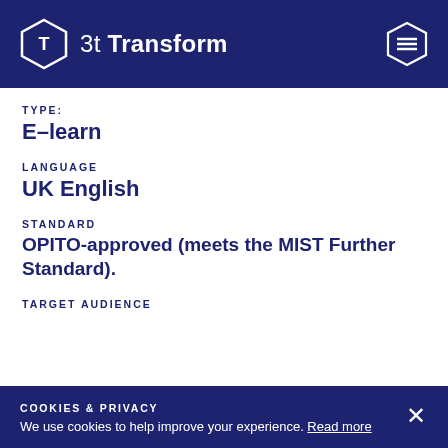3t Transform
TYPE:
E-learn
LANGUAGE
UK English
STANDARD
OPITO-approved (meets the MIST Further Standard).
TARGET AUDIENCE
COOKIES & PRIVACY
We use cookies to help improve your experience. Read more